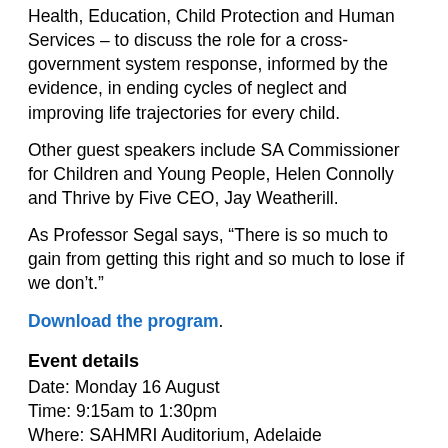Health, Education, Child Protection and Human Services – to discuss the role for a cross-government system response, informed by the evidence, in ending cycles of neglect and improving life trajectories for every child.
Other guest speakers include SA Commissioner for Children and Young People, Helen Connolly and Thrive by Five CEO, Jay Weatherill.
As Professor Segal says, “There is so much to gain from getting this right and so much to lose if we don’t.”
Download the program.
Event details
Date: Monday 16 August
Time: 9:15am to 1:30pm
Where: SAHMRI Auditorium, Adelaide
Register: Click here to register for the event